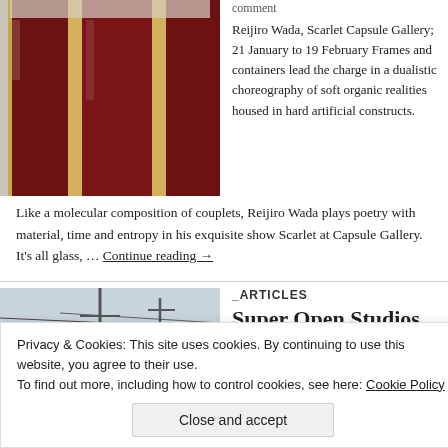[Figure (photo): Photo of dark red/maroon glass panels in gold frames]
comment
Reijiro Wada, Scarlet Capsule Gallery; 21 January to 19 February Frames and containers lead the charge in a dualistic choreography of soft organic realities housed in hard artificial constructs. Like a molecular composition of couplets, Reijiro Wada plays poetry with material, time and entropy in his exquisite show Scarlet at Capsule Gallery. It's all glass, … Continue reading →
[Figure (photo): Urban street photo with utility poles and wires against a pale sky, building below]
_ARTICLES
Super Open Studios, Part 3
Privacy & Cookies: This site uses cookies. By continuing to use this website, you agree to their use. To find out more, including how to control cookies, see here: Cookie Policy
Close and accept